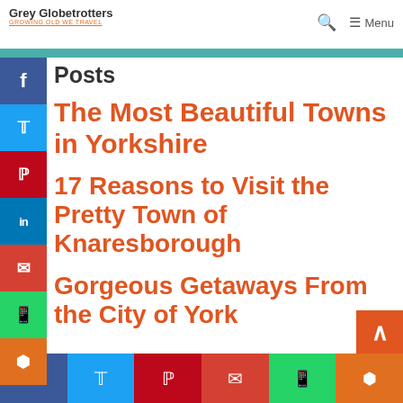Grey Globetrotters — GROWING OLD WE TRAVEL | Menu
Posts
The Most Beautiful Towns in Yorkshire
17 Reasons to Visit the Pretty Town of Knaresborough
Gorgeous Getaways From the City of York